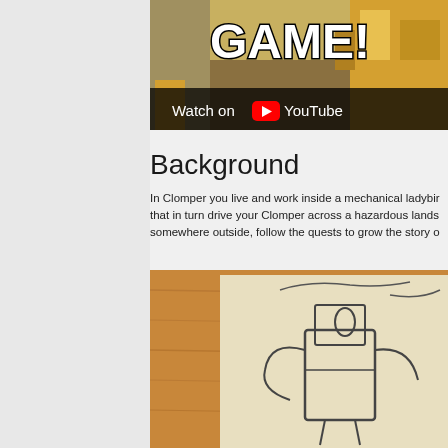[Figure (screenshot): YouTube video thumbnail showing a game scene with 'GAME!' text in bold white with outline, and a 'Watch on YouTube' overlay bar at the bottom]
Background
In Clomper you live and work inside a mechanical ladybir... that in turn drive your Clomper across a hazardous lands... somewhere outside, follow the quests to grow the story o...
[Figure (photo): A pencil sketch drawing of what appears to be a robot or mechanical character on paper, placed on a wooden surface]